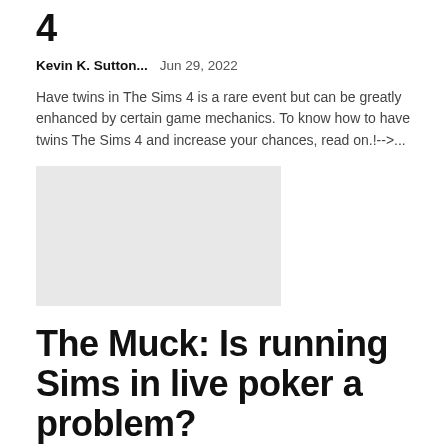4
Kevin K. Sutton...   Jun 29, 2022
Have twins in The Sims 4 is a rare event but can be greatly enhanced by certain game mechanics. To know how to have twins The Sims 4 and increase your chances, read on.!-->...
[Figure (photo): Gray placeholder thumbnail image]
The Muck: Is running Sims in live poker a problem?
Kevin K. Sutton...   Jun 29, 2022